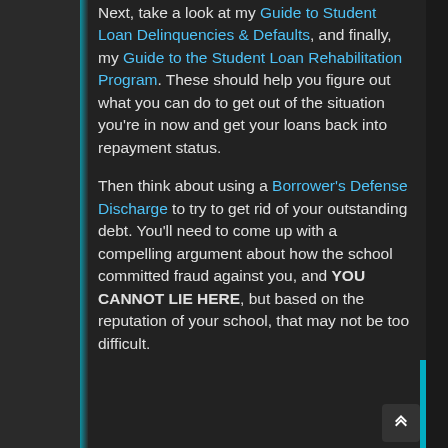Next, take a look at my Guide to Student Loan Delinquencies & Defaults, and finally, my Guide to the Student Loan Rehabilitation Program. These should help you figure out what you can do to get out of the situation you're in now and get your loans back into repayment status.

Then think about using a Borrower's Defense Discharge to try to get rid of your outstanding debt. You'll need to come up with a compelling argument about how the school committed fraud against you, and YOU CANNOT LIE HERE, but based on the reputation of your school, that may not be too difficult.